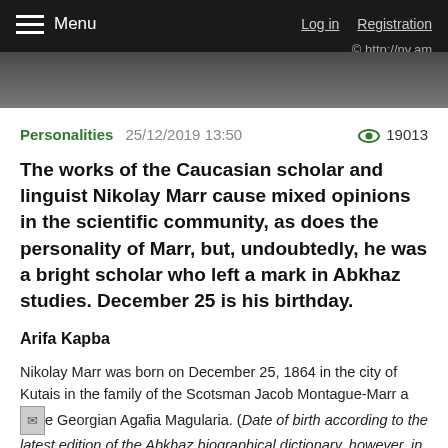Menu   Log in   Registration   © http://nv.am
Personalities  25/12/2019 13:50  👁 19013
The works of the Caucasian scholar and linguist Nikolay Marr cause mixed opinions in the scientific community, as does the personality of Marr, but, undoubtedly, he was a bright scholar who left a mark in Abkhaz studies. December 25 is his birthday.
Arifa Kapba
Nikolay Marr was born on December 25, 1864 in the city of Kutais in the family of the Scotsman Jacob Montague-Marr and the Georgian Agafia Magularia. (Date of birth according to the latest edition of the Abkhaz biographical dictionary, however, in some sources there are other options...d.)